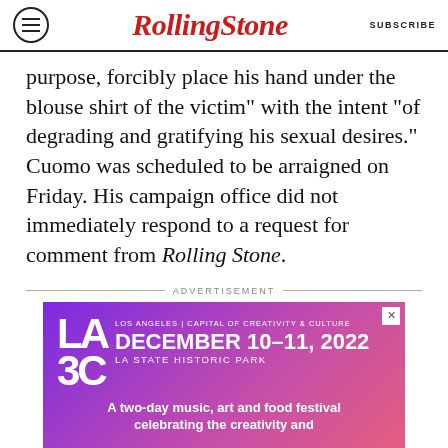Rolling Stone | SUBSCRIBE
purpose, forcibly place his hand under the blouse shirt of the victim” with the intent “of degrading and gratifying his sexual desires.” Cuomo was scheduled to be arraigned on Friday. His campaign office did not immediately respond to a request for comment from Rolling Stone.
ADVERTISEMENT
[Figure (other): LA3C festival advertisement banner: Los Angeles | Capital of Creativity & Culture, December 10-11, 2022, LA State Historic Park, A two-day music, art and food festival celebrating the creativity and...]
[Figure (other): Amazon Fire HD Tablets advertisement: Just $45 right now, SPY logo]